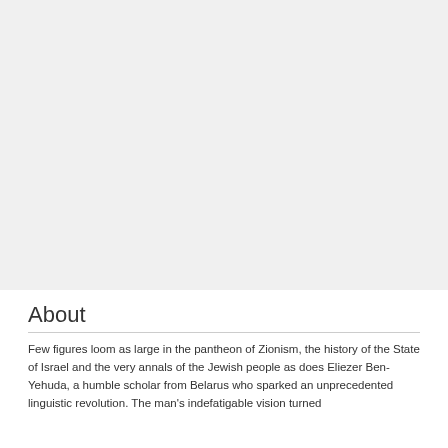[Figure (photo): Large image placeholder area at the top of the page, light gray background]
About
Few figures loom as large in the pantheon of Zionism, the history of the State of Israel and the very annals of the Jewish people as does Eliezer Ben-Yehuda, a humble scholar from Belarus who sparked an unprecedented linguistic revolution. The man's indefatigable vision turned